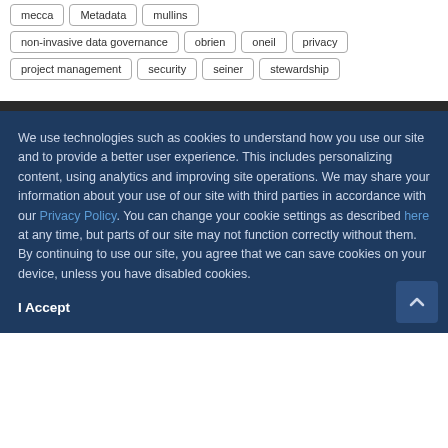mecca
Metadata
mullins
non-invasive data governance
obrien
oneil
privacy
project management
security
seiner
stewardship
We use technologies such as cookies to understand how you use our site and to provide a better user experience. This includes personalizing content, using analytics and improving site operations. We may share your information about your use of our site with third parties in accordance with our Privacy Policy. You can change your cookie settings as described here at any time, but parts of our site may not function correctly without them. By continuing to use our site, you agree that we can save cookies on your device, unless you have disabled cookies.
I Accept